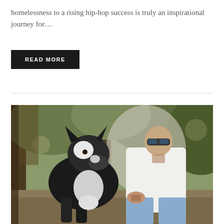homelessness to a rising hip-hop success is truly an inspirational journey for…
READ MORE
[Figure (photo): A tattooed man wearing sunglasses and a white v-neck t-shirt sits outdoors in a wooded area next to a large black and grey wolf/husky dog. The man has tattoos on his neck and hands and is wearing ripped jeans. The background shows trees with dappled light.]